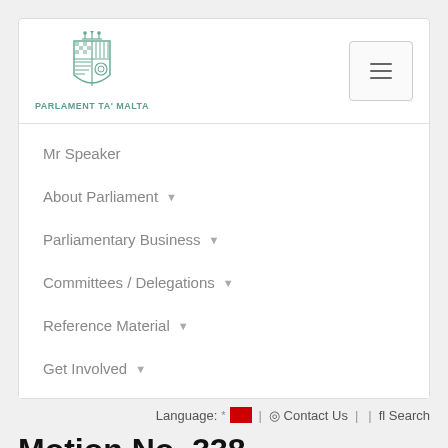[Figure (logo): Parlament ta' Malta coat of arms logo with text PARLAMENT TA' MALTA below]
Mr Speaker
About Parliament ▼
Parliamentary Business ▼
Committees / Delegations ▼
Reference Material ▼
Get Involved ▼
Language: * [flag] | Contact Us | | fl Search
Motion No. 338
Notarial Profession and Notarial Archives